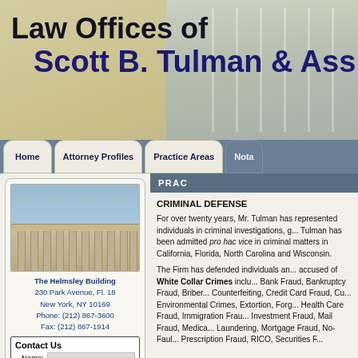Law Offices of Scott B. Tulman & Associates
Home | Attorney Profiles | Practice Areas | Notable
[Figure (photo): Photograph of a courthouse building with classical columns, The Helmsley Building]
The Helmsley Building
230 Park Avenue, Fl. 18
New York, NY 10169
Phone: (212) 867-3600
Fax: (212) 867-1914
Contact Us
Name:
Email:
Te
PRACTICE AREAS
CRIMINAL DEFENSE
For over twenty years, Mr. Tulman has represented individuals in criminal investigations, g... Tulman has been admitted pro hac vice in criminal matters in California, Florida, North Carolina and Wisconsin.
The Firm has defended individuals and accused of White Collar Crimes including Bank Fraud, Bankruptcy Fraud, Bribery, Counterfeiting, Credit Card Fraud, Cu... Environmental Crimes, Extortion, Forg... Health Care Fraud, Immigration Frau... Investment Fraud, Mail Fraud, Medica... Laundering, Mortgage Fraud, No-Faul... Prescription Fraud, RICO, Securities F...